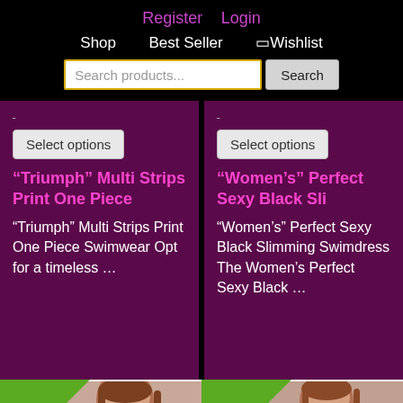Register  Login
Shop   Best Seller   🔲Wishlist
Search products...  Search
Select options
“Triumph” Multi Strips Print One Piece
“Triumph” Multi Strips Print One Piece Swimwear Opt for a timeless …
Select options
“Women’s” Perfect Sexy Black Sli
“Women’s” Perfect Sexy Black Slimming Swimdress The Women’s Perfect Sexy Black …
[Figure (photo): Sale badge with woman's face/head photo - left product card bottom]
[Figure (photo): Sale badge with woman's face/head photo - right product card bottom]